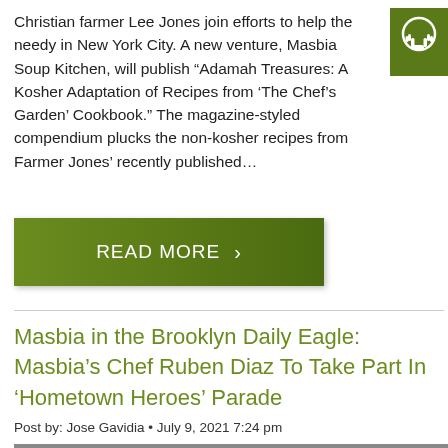Christian farmer Lee Jones join efforts to help the needy in New York City. A new venture, Masbia Soup Kitchen, will publish “Adamah Treasures: A Kosher Adaptation of Recipes from ‘The Chef’s Garden’ Cookbook.” The magazine-styled compendium plucks the non-kosher recipes from Farmer Jones’ recently published…
[Figure (logo): Masbia organization logo: white hands raised on olive/dark green square background]
READ MORE ›
Masbia in the Brooklyn Daily Eagle: Masbia’s Chef Ruben Diaz To Take Part In ‘Hometown Heroes’ Parade
Post by: Jose Gavidia • July 9, 2021 7:24 pm
[Figure (photo): Outdoor photo showing two men, one facing camera in foreground and another partially visible; outdoor setting with blue awnings in background]